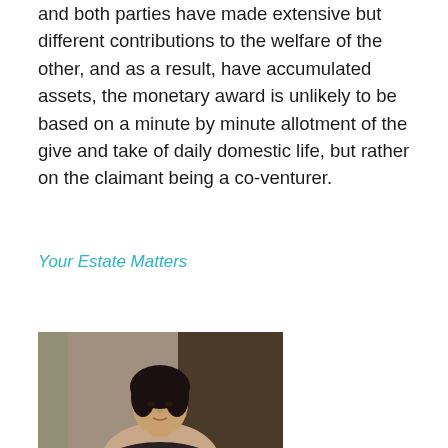and both parties have made extensive but different contributions to the welfare of the other, and as a result, have accumulated assets, the monetary award is unlikely to be based on a minute by minute allotment of the give and take of daily domestic life, but rather on the claimant being a co-venturer.
Your Estate Matters
[Figure (photo): Portrait photo of a woman with dark hair, appearing in professional attire, photographed indoors with a blurred background]